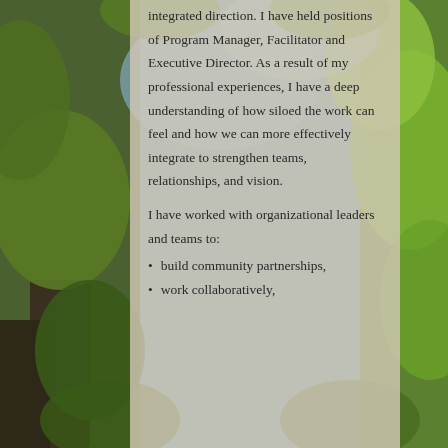[Figure (photo): Background photo of tree canopy with green leaves and branches against a blue sky, viewed from below.]
integrated direction. I have held positions of Program Manager, Facilitator and Executive Director. As a result of my professional experiences, I have a deep understanding of how siloed the work can feel and how we can more effectively integrate to strengthen teams, relationships, and vision.
I have worked with organizational leaders and teams to:
build community partnerships,
work collaboratively,